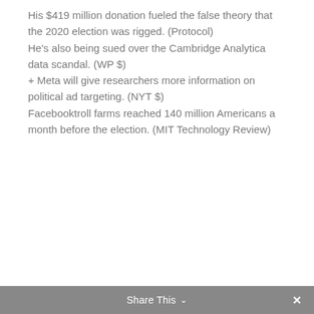His $419 million donation fueled the false theory that the 2020 election was rigged. (Protocol) He's also being sued over the Cambridge Analytica data scandal. (WP $) + Meta will give researchers more information on political ad targeting. (NYT $) Facebooktroll farms reached 140 million Americans a month before the election. (MIT Technology Review)
Share This ∨  ✕